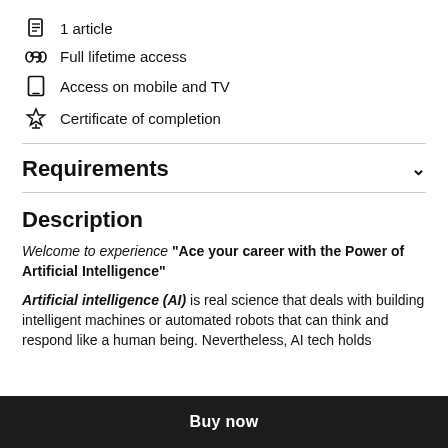1 article
Full lifetime access
Access on mobile and TV
Certificate of completion
Requirements
Description
Welcome to experience "Ace your career with the Power of Artificial Intelligence"
Artificial intelligence (AI) is real science that deals with building intelligent machines or automated robots that can think and respond like a human being. Nevertheless, AI tech holds
Buy now